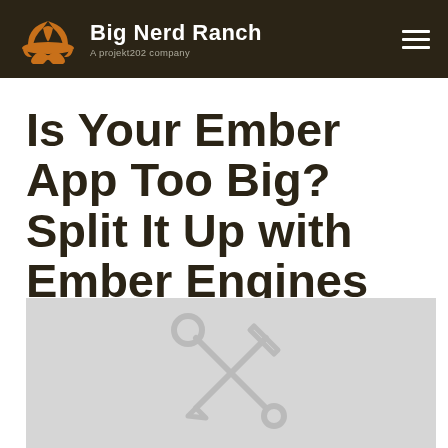Big Nerd Ranch — A projekt202 company
Is Your Ember App Too Big? Split It Up with Ember Engines
[Figure (illustration): Grey placeholder image with a faint icon of crossed wrench and pencil tools in the center]